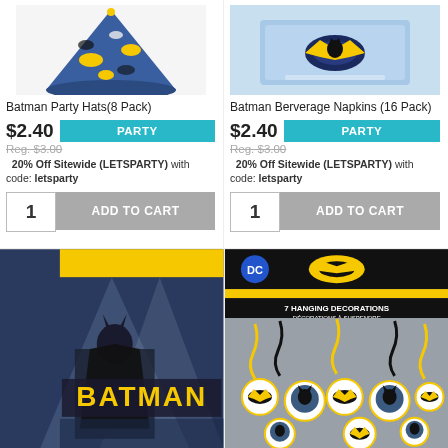[Figure (photo): Batman Party Hats product image showing colorful Batman-themed cone hats with blue, yellow and black bat motifs]
Batman Party Hats(8 Pack)
$2.40  PARTY
Reg. $3.00
20% Off Sitewide (LETSPARTY) with code: letsparty
1  ADD TO CART
[Figure (photo): Batman Beverage Napkins product image showing blue Batman-themed napkins]
Batman Berverage Napkins (16 Pack)
$2.40  PARTY
Reg. $3.00
20% Off Sitewide (LETSPARTY) with code: letsparty
1  ADD TO CART
[Figure (photo): Batman lunchbox or bag product image with yellow top and Batman logo text against blue/white background]
[Figure (photo): Batman hanging decorations 7 pack showing swirls with Batman logos and character images, DC branded packaging]